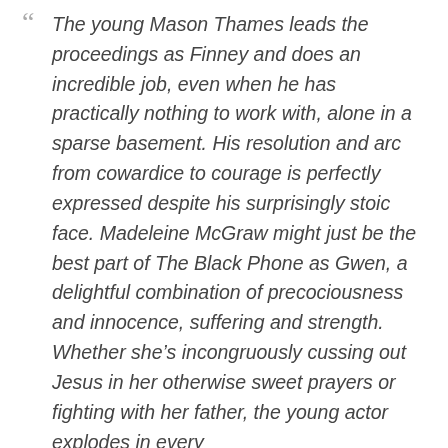The young Mason Thames leads the proceedings as Finney and does an incredible job, even when he has practically nothing to work with, alone in a sparse basement. His resolution and arc from cowardice to courage is perfectly expressed despite his surprisingly stoic face. Madeleine McGraw might just be the best part of The Black Phone as Gwen, a delightful combination of precociousness and innocence, suffering and strength. Whether she’s incongruously cussing out Jesus in her otherwise sweet prayers or fighting with her father, the young actor explodes in every